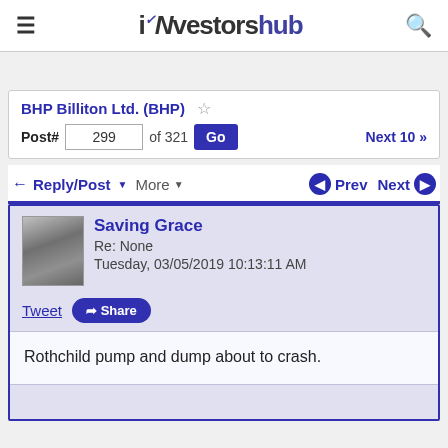iNvestorsHub
BHP Billiton Ltd. (BHP)
Post# 299 of 321 Go  Next 10 >>
Reply/Post  More  Prev  Next
Saving Grace
Re: None
Tuesday, 03/05/2019 10:13:11 AM
Tweet  Share
Rothchild pump and dump about to crash.